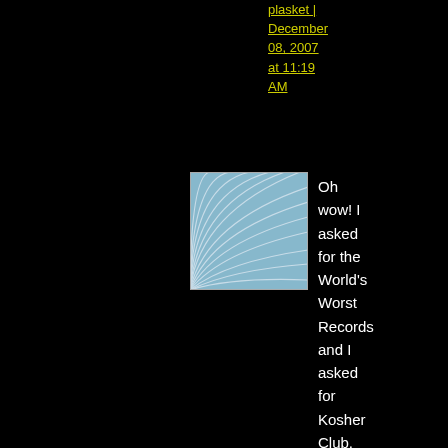plasket | December 08, 2007 at 11:19 AM
[Figure (photo): Avatar image - square with blue curved lines/fan pattern on light blue background]
Oh wow! I asked for the World's Worst Records and I asked for Kosher Club, and you wonderful people brought me both! You